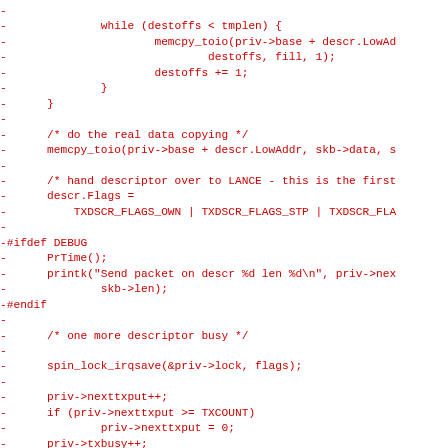Code diff showing removed lines (prefixed with -) including C code with while loop, memcpy_toio calls, descriptor flag assignment, debug block with PrTime and printk, spin_lock_irqsave, nexttxput increment, txbusy increment, and saturation check comment.